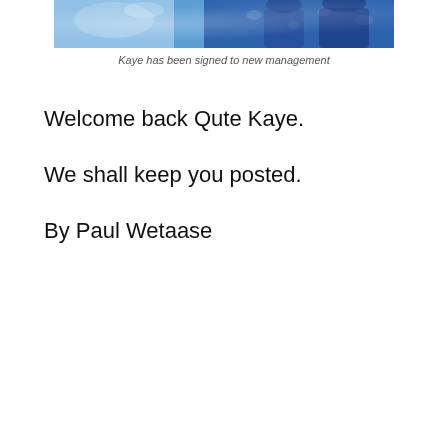[Figure (photo): A cropped photo showing people in blue floral/patterned clothing against a light blue background]
Kaye has been signed to new management
Welcome back Qute Kaye.
We shall keep you posted.
By Paul Wetaase